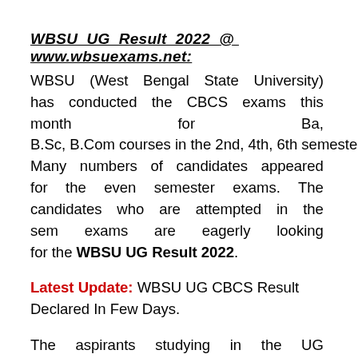WBSU UG Result 2022 @ www.wbsuexams.net:
WBSU (West Bengal State University) has conducted the CBCS exams this month for Ba, B.Sc, B.Com courses in the 2nd, 4th, 6th semester. Many numbers of candidates appeared for the even semester exams. The candidates who are attempted in the sem exams are eagerly looking for the WBSU UG Result 2022.
Latest Update: WBSU UG CBCS Result Declared In Few Days.
The aspirants studying in the UG courses of WBSU can download the sem exam result from the main portal. The students can check the